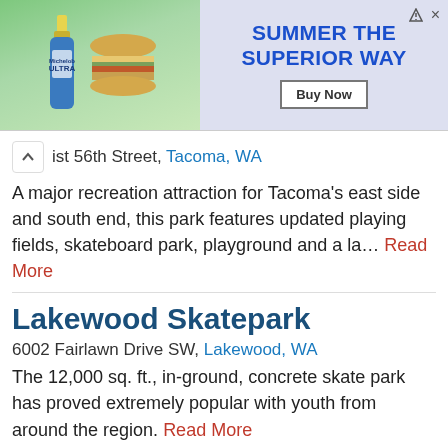[Figure (other): Advertisement banner showing a beer bottle, burger, with text 'SUMMER THE SUPERIOR WAY' and a 'Buy Now' button]
ist 56th Street, Tacoma, WA
A major recreation attraction for Tacoma's east side and south end, this park features updated playing fields, skateboard park, playground and a la… Read More
Lakewood Skatepark
6002 Fairlawn Drive SW, Lakewood, WA
The 12,000 sq. ft., in-ground, concrete skate park has proved extremely popular with youth from around the region. Read More
Washington State History Museum